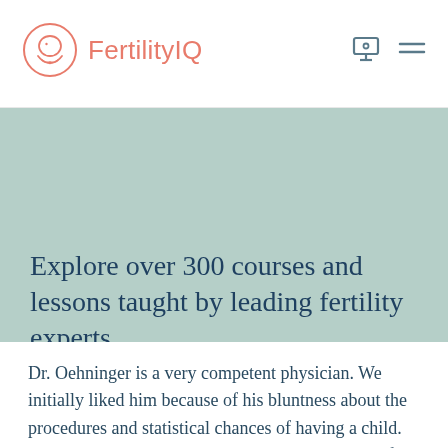FertilityIQ
Explore over 300 courses and lessons taught by leading fertility experts.
Dismiss
Dr. Oehninger is a very competent physician. We initially liked him because of his bluntness about the procedures and statistical chances of having a child. As days went past during our cycle, it seemed as if we heard less and less from him. He was not available in at least two of our ultrasounds, which to us was a ver…